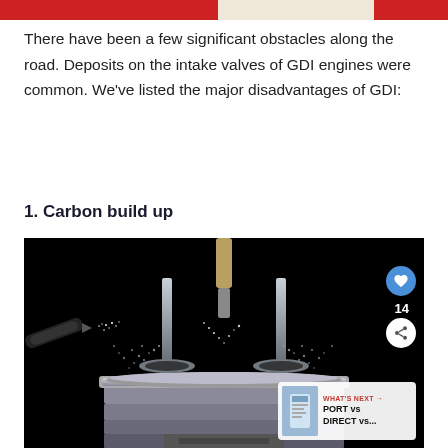There have been a few significant obstacles along the road. Deposits on the intake valves of GDI engines were common. We've listed the major disadvantages of GDI:
1. Carbon build up
[Figure (photo): Close-up rendering of engine intake valves with carbon deposit buildup and fuel spray particles, showing a piston assembly with cylinder walls in cross-section. Overlaid with social sharing UI elements (heart button, share button, count of 14) and a 'What's Next' card showing PORT vs DIRECT vs... comparison.]